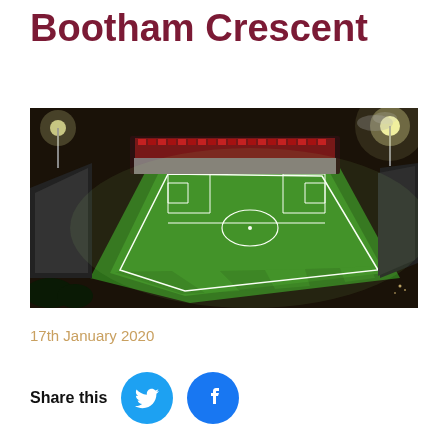Bootham Crescent
[Figure (photo): Aerial night-time photograph of Bootham Crescent football stadium, York City FC, showing the illuminated green pitch from above with floodlights on, surrounded by stands and the city at night.]
17th January 2020
Share this